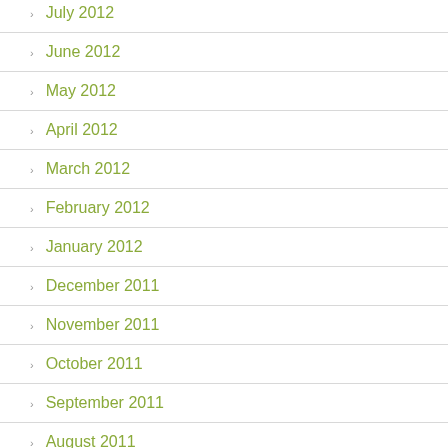July 2012
June 2012
May 2012
April 2012
March 2012
February 2012
January 2012
December 2011
November 2011
October 2011
September 2011
August 2011